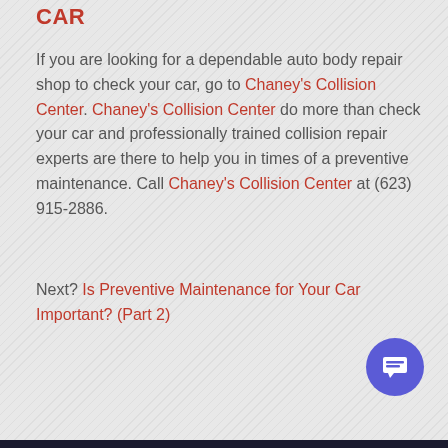CAR
If you are looking for a dependable auto body repair shop to check your car, go to Chaney's Collision Center. Chaney's Collision Center do more than check your car and professionally trained collision repair experts are there to help you in times of a preventive maintenance. Call Chaney's Collision Center at (623) 915-2886.
Next? Is Preventive Maintenance for Your Car Important? (Part 2)